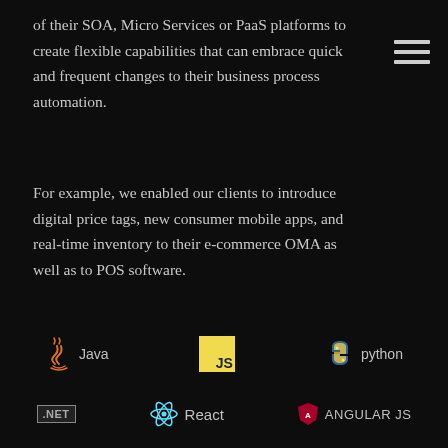of their SOA, Micro Services or PaaS platforms to create flexible capabilities that can embrace quick and frequent changes to their business process automation.
[Figure (other): Hamburger menu icon (three horizontal lines) in upper right corner]
For example, we enabled our clients to introduce digital price tags, new consumer mobile apps, and real-time inventory to their e-commerce OMA as well as to POS software.
[Figure (logo): Row of technology logos: Java, JavaScript (JS), Python]
[Figure (logo): Row of technology logos: .NET, React, Angular JS]